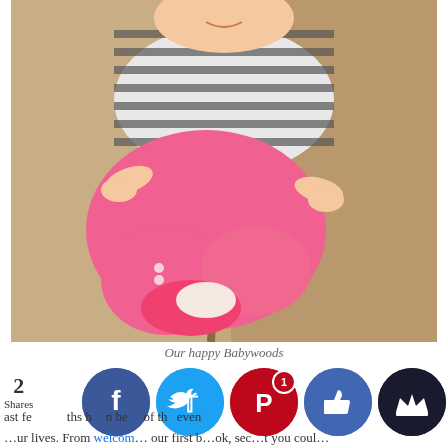[Figure (photo): A happy baby wearing a striped black and white long-sleeve top and bright pink pants with pink shoes, sitting on a tan/beige couch]
Our happy Babywoods
2 Shares  ast fe... ths h... n be... of th... even
...our lives. From welcom... our first b...ok, sec... t you coul...